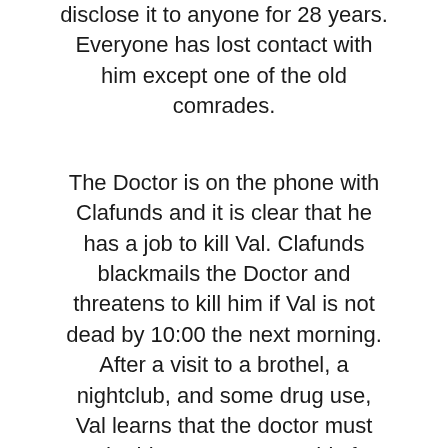disclose it to anyone for 28 years. Everyone has lost contact with him except one of the old comrades.
The Doctor is on the phone with Clafunds and it is clear that he has a job to kill Val. Clafunds blackmails the Doctor and threatens to kill him if Val is not dead by 10:00 the next morning. After a visit to a brothel, a nightclub, and some drug use, Val learns that the doctor must murder him. He agrees to his fate and wants to visit old friend Hirsch once again. Along with the stolen car of other criminals, they roam around overnight and experience some thrill with deer. Then he falls asleep peacefully and they bury him. At the grave, Val gives a passionate speech.